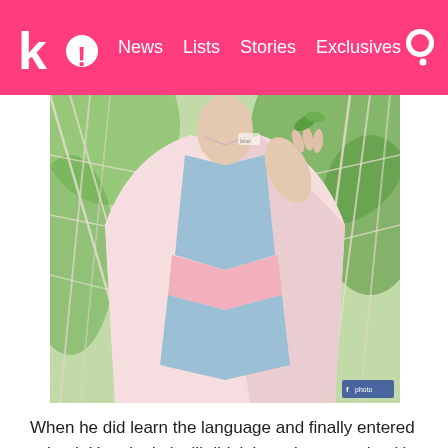k! News Lists Stories Exclusives
[Figure (photo): Young person wearing a pink open jacket over a blue and pink striped knit sweater, hand raised near collar, macrame/rope decorations and green foliage in background. Facebook icon badge in bottom right corner.]
When he did learn the language and finally entered school, Hueningkai still didn't have it any easier. He revealed that one of his teachers would get angry at him simply because he didn't yet know how to use a specific form of Korean.
It isolated Hueningkai even more. “My teacher